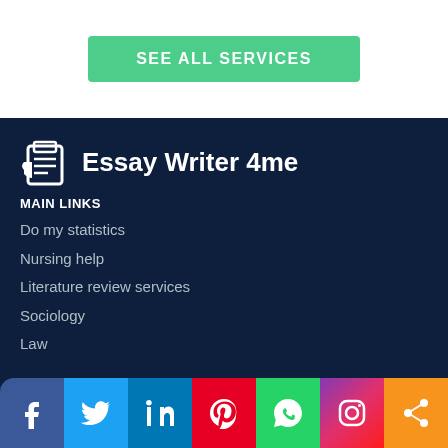SEE ALL SERVICES
[Figure (logo): Essay Writer 4me logo with document/clipboard icon]
MAIN LINKS
Do my statistics
Nursing help
Literature review services
Sociology
Law
[Figure (infographic): Social media icon buttons row: Facebook, Twitter, LinkedIn, Pinterest, WhatsApp, Instagram, Share]